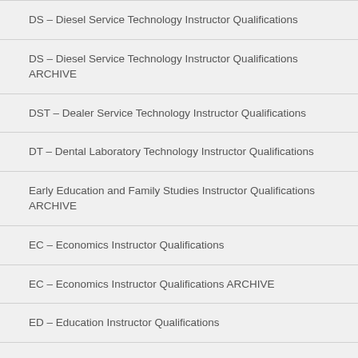DS – Diesel Service Technology Instructor Qualifications
DS – Diesel Service Technology Instructor Qualifications ARCHIVE
DST – Dealer Service Technology Instructor Qualifications
DT – Dental Laboratory Technology Instructor Qualifications
Early Education and Family Studies Instructor Qualifications ARCHIVE
EC – Economics Instructor Qualifications
EC – Economics Instructor Qualifications ARCHIVE
ED – Education Instructor Qualifications